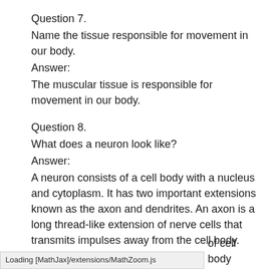Question 7.
Name the tissue responsible for movement in our body.
Answer:
The muscular tissue is responsible for movement in our body.
Question 8.
What does a neuron look like?
Answer:
A neuron consists of a cell body with a nucleus and cytoplasm. It has two important extensions known as the axon and dendrites. An axon is a long thread-like extension of nerve cells that transmits impulses away from the cell body. Dendrites, on the other
Loading [MathJax]/extensions/MathZoom.js
of cell body